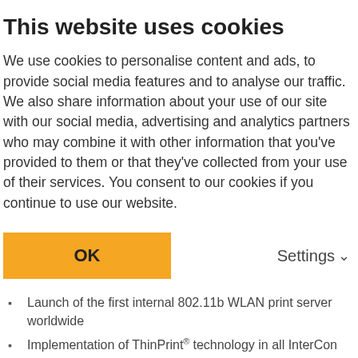This website uses cookies
We use cookies to personalise content and ads, to provide social media features and to analyse our traffic. We also share information about your use of our site with our social media, advertising and analytics partners who may combine it with other information that you've provided to them or that they've collected from your use of their services. You consent to our cookies if you continue to use our website.
OK
Settings
Opening of the Japanese office
Launch of the first internal 802.11b WLAN print server worldwide
Implementation of ThinPrint® technology in all InterCon print servers
Introduction of the SOHO Baseline print server